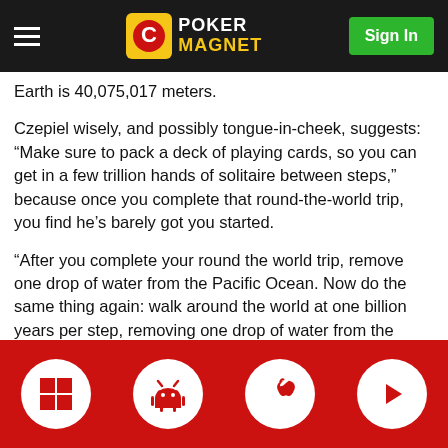Poker Magnet — Sign In
Earth is 40,075,017 meters.
Czepiel wisely, and possibly tongue-in-cheek, suggests: “Make sure to pack a deck of playing cards, so you can get in a few trillion hands of solitaire between steps,” because once you complete that round-the-world trip, you find he’s barely got you started.
“After you complete your round the world trip, remove one drop of water from the Pacific Ocean. Now do the same thing again: walk around the world at one billion years per step, removing one drop of water from the Pacific Ocean each time you circle the globe. The Pacific Ocean contains 707.6 million cubic kilometres of water. Continue until the ocean is empty. When it is
[Figure (screenshot): Bottom app download bar with four white circle icons on red background: Windows, Android, Apple, and Play button icons]